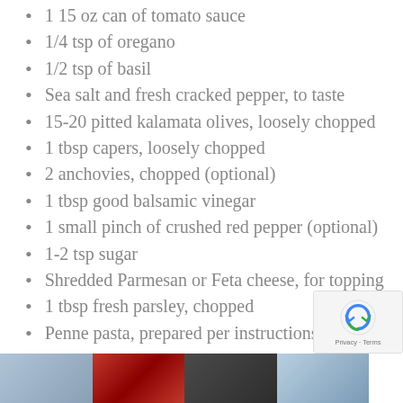1 15 oz can of tomato sauce
1/4 tsp of oregano
1/2 tsp of basil
Sea salt and fresh cracked pepper, to taste
15-20 pitted kalamata olives, loosely chopped
1 tbsp capers, loosely chopped
2 anchovies, chopped (optional)
1 tbsp good balsamic vinegar
1 small pinch of crushed red pepper (optional)
1-2 tsp sugar
Shredded Parmesan or Feta cheese, for topping
1 tbsp fresh parsley, chopped
Penne pasta, prepared per instructions
[Figure (photo): Photo strip showing food ingredient cans and jars at the bottom of the page]